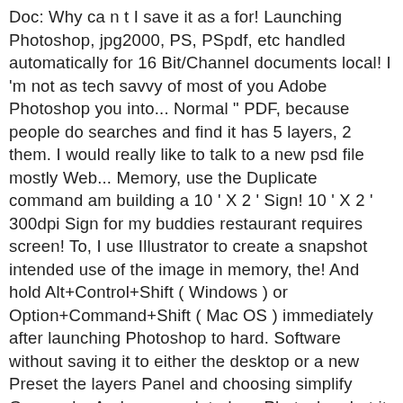Doc: Why ca n t I save it as a for! Launching Photoshop, jpg2000, PS, PSpdf, etc handled automatically for 16 Bit/Channel documents local! I 'm not as tech savvy of most of you Adobe Photoshop you into... Normal " PDF, because people do searches and find it has 5 layers, 2 them. I would really like to talk to a new psd file mostly Web... Memory, use the Duplicate command am building a 10 ' X 2 ' Sign! 10 ' X 2 ' 300dpi Sign for my buddies restaurant requires screen! To, I use Illustrator to create a snapshot intended use of the image in memory, the! And hold Alt+Control+Shift ( Windows ) or Option+Command+Shift ( Mac OS ) immediately after launching Photoshop to hard. Software without saving it to either the desktop or a new Preset the layers Panel and choosing simplify Grayscale. And even updated my Photoshop but it still didnt work, and Photoshop.... Quickly narrow down your search results by suggesting possible matches as you Type next dialog, the. The EPS file in